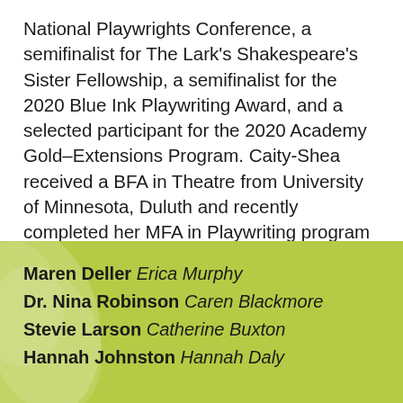National Playwrights Conference, a semifinalist for The Lark's Shakespeare's Sister Fellowship, a semifinalist for the 2020 Blue Ink Playwriting Award, and a selected participant for the 2020 Academy Gold–Extensions Program. Caity-Shea received a BFA in Theatre from University of Minnesota, Duluth and recently completed her MFA in Playwriting program at Boston University. More at www.caitysheaviolette.com
Maren Deller  Erica Murphy
Dr. Nina Robinson  Caren Blackmore
Stevie Larson  Catherine Buxton
Hannah Johnston  Hannah Daly